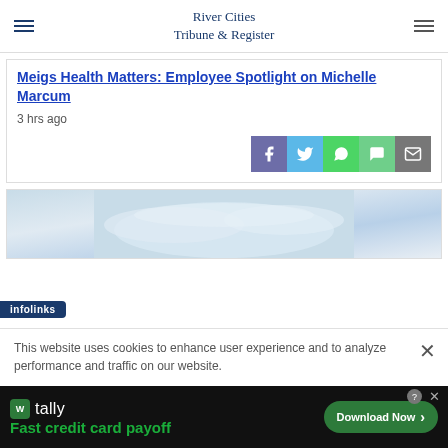River Cities Tribune & Register
Meigs Health Matters: Employee Spotlight on Michelle Marcum
3 hrs ago
[Figure (screenshot): Share buttons row: Facebook (purple-blue), Twitter (light blue), WhatsApp (green), Message (green), Email (gray)]
[Figure (photo): Sky photo with clouds, light blue tones]
This website uses cookies to enhance user experience and to analyze performance and traffic on our website.
[Figure (infographic): Tally ad banner: 'Fast credit card payoff' with Download Now button]